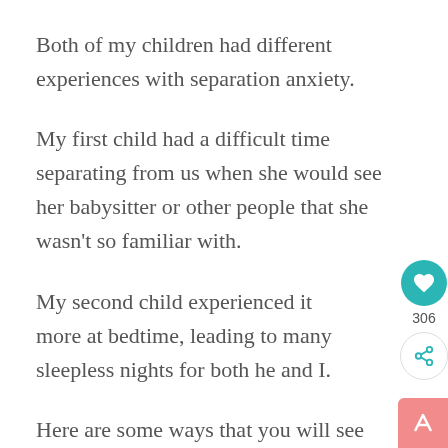Both of my children had different experiences with separation anxiety.
My first child had a difficult time separating from us when she would see her babysitter or other people that she wasn't so familiar with.
My second child experienced it more at bedtime, leading to many sleepless nights for both he and I.
Here are some ways that you will see